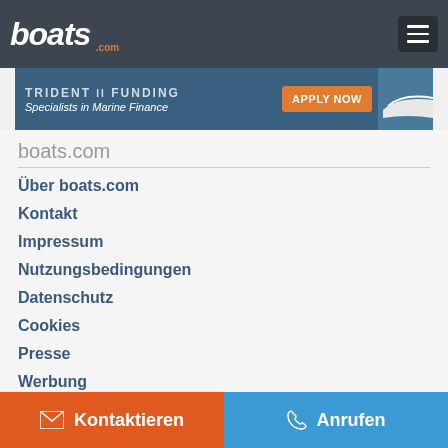boats.com
[Figure (screenshot): Trident II Funding advertisement banner - Specialists in Marine Finance with APPLY NOW button and boat image]
boats.com
Über boats.com
Kontakt
Impressum
Nutzungsbedingungen
Datenschutz
Cookies
Presse
Werbung
Ich widerspreche dem Verkauf meiner persönlichen Daten
Dienste
Kontaktieren
Anrufen